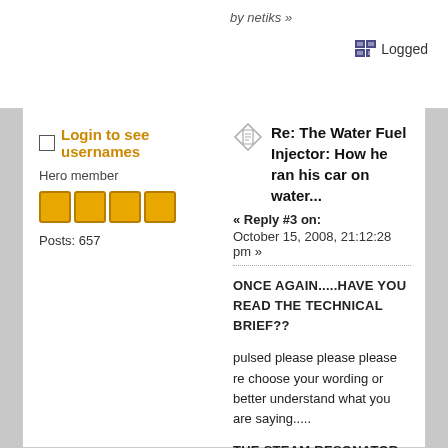by netiks »
Logged
Login to see usernames
Hero member
Posts: 657
Re: The Water Fuel Injector: How he ran his car on water...
« Reply #3 on: October 15, 2008, 21:12:28 pm »
ONCE AGAIN.....HAVE YOU READ THE TECHNICAL BRIEF??
pulsed please please please re choose your wording or better understand what you are saying.....
THE STEAM RESONATOR HAS NOTHING TO DO WITH THE WATER FUEL INJECTOR